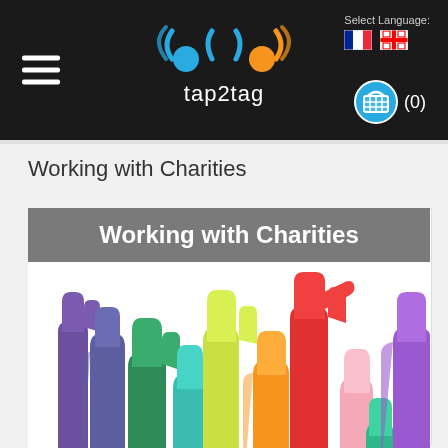tap2tag - Working with Charities
Select Language:
Working with Charities
[Figure (illustration): Working with Charities banner with colourful raised hands illustration below a grey banner header]
Working with Charities